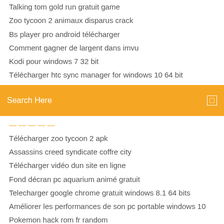Talking tom gold run gratuit game
Zoo tycoon 2 animaux disparus crack
Bs player pro android télécharger
Comment gagner de largent dans imvu
Kodi pour windows 7 32 bit
Télécharger htc sync manager for windows 10 64 bit
[Figure (screenshot): Orange search bar with text 'Search Here' and a small square icon on the right]
Télécharger zoo tycoon 2 apk
Assassins creed syndicate coffre city
Télécharger vidéo dun site en ligne
Fond décran pc aquarium animé gratuit
Telecharger google chrome gratuit windows 8.1 64 bits
Améliorer les performances de son pc portable windows 10
Pokemon hack rom fr random
How to install crossover on mac for free
Best music player for windows 7 with equalizer
Telecharger adobe reader pdf pour pc